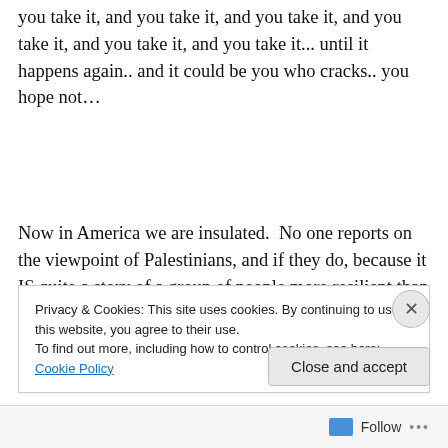you take it, and you take it, and you take it, and you take it, and you take it, and you take it, and you take it... until it happens again.. and it could be you who cracks.. you hope not…
Now in America we are insulated.  No one reports on the viewpoint of Palestinians, and if they do, because it IS quite a story of a group of people more resilient than the Negro of slavery lore, no one lets it go to print. Being
Privacy & Cookies: This site uses cookies. By continuing to use this website, you agree to their use.
To find out more, including how to control cookies, see here: Cookie Policy
Close and accept
Follow ···